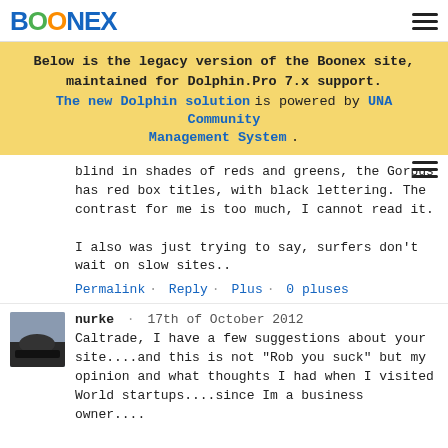BOONEX
Below is the legacy version of the Boonex site, maintained for Dolphin.Pro 7.x support. The new Dolphin solution is powered by UNA Community Management System.
blind in shades of reds and greens, the Gorpus has red box titles, with black lettering. The contrast for me is too much, I cannot read it.

I also was just trying to say, surfers don't wait on slow sites..
Permalink · Reply · Plus · 0 pluses
nurke · 17th of October 2012
Caltrade, I have a few suggestions about your site....and this is not "Rob you suck" but my opinion and what thoughts I had when I visited World startups....since Im a business owner....